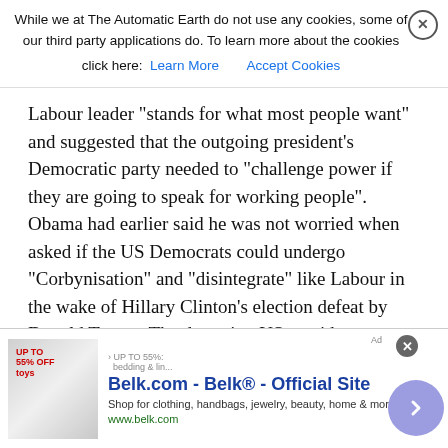While we at The Automatic Earth do not use any cookies, some of our third party applications do. To learn more about the cookies click here: [Learn More] [Accept Cookies]
Labour leader "stands for what most people want" and suggested that the outgoing president's Democratic party needed to "challenge power if they are going to speak for working people". Obama had earlier said he was not worried when asked if the US Democrats could undergo "Corbynisation" and "disintegrate" like Labour in the wake of Hillary Clinton's election defeat by Donald Trump. The departing US president was giving an in-depth interview, in which he also said he would have won the 8 November contest if he ran for a third term, to David Axelrod, formerly an adviser to Corbyn's predecessor as Labour leader, Ed Miliband.
The 55-year-old compared the way the Labour party and the US Republicans had chosen to swing away from the middle ground and claimed even left-wing senator Bernie Sanders was a centrist compared to Corbyn. Asked about a potential "Corbynisation" of his
[Figure (other): Advertisement banner for Belk.com - Belk Official Site. Shop for clothing, handbags, jewelry, beauty, home & more! www.belk.com]